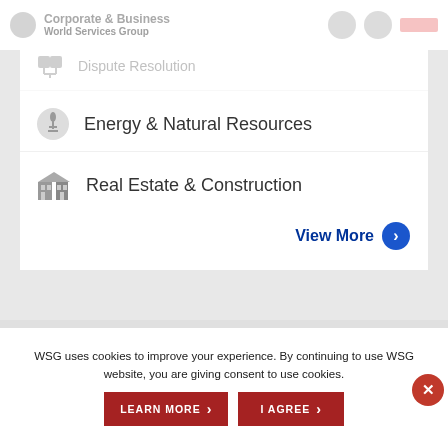Corporate & Business World Services Group
Dispute Resolution
Energy & Natural Resources
Real Estate & Construction
View More
PROFILE
WSG uses cookies to improve your experience. By continuing to use WSG website, you are giving consent to use cookies.
LEARN MORE
I AGREE